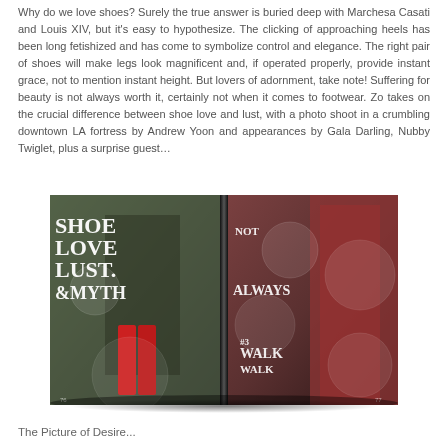Why do we love shoes? Surely the true answer is buried deep with Marchesa Casati and Louis XIV, but it's easy to hypothesize. The clicking of approaching heels has been long fetishized and has come to symbolize control and elegance. The right pair of shoes will make legs look magnificent and, if operated properly, provide instant grace, not to mention instant height. But lovers of adornment, take note! Suffering for beauty is not always worth it, certainly not when it comes to footwear. Zo takes on the crucial difference between shoe love and lust, with a photo shoot in a crumbling downtown LA fortress by Andrew Yoon and appearances by Gala Darling, Nubby Twiglet, plus a surprise guest…
[Figure (photo): Open magazine spread showing a fashion editorial titled 'Shoe Love Lust & Myth'. Left page shows a woman in a dark dress and red knee-high boots wearing a blue hat, with decorative typography. Right page shows close-up of red boots with overlaid text circles and editorial typography. The spread is photographed as a physical book lying flat.]
The Picture of Desire...